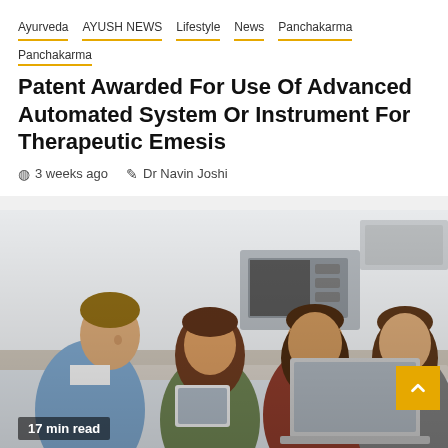Ayurveda  AYUSH NEWS  Lifestyle  News  Panchakarma  Panchakarma
Patent Awarded For Use Of Advanced Automated System Or Instrument For Therapeutic Emesis
3 weeks ago   Dr Navin Joshi
[Figure (photo): Group of four young people (one male, three females) gathered around a laptop and tablet, smiling and looking at a phone, in a kitchen setting]
17 min read